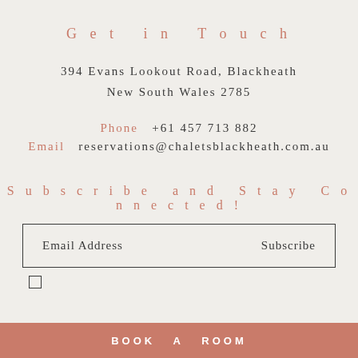Get in Touch
394 Evans Lookout Road, Blackheath
New South Wales 2785
Phone  +61 457 713 882
Email  reservations@chaletsblackheath.com.au
Subscribe and Stay Connected!
Email Address    Subscribe
BOOK A ROOM